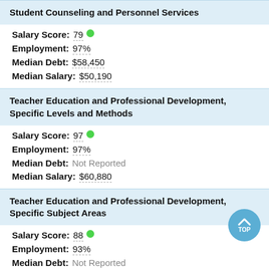Student Counseling and Personnel Services
Salary Score: 79
Employment: 97%
Median Debt: $58,450
Median Salary: $50,190
Teacher Education and Professional Development, Specific Levels and Methods
Salary Score: 97
Employment: 97%
Median Debt: Not Reported
Median Salary: $60,880
Teacher Education and Professional Development, Specific Subject Areas
Salary Score: 88
Employment: 93%
Median Debt: Not Reported